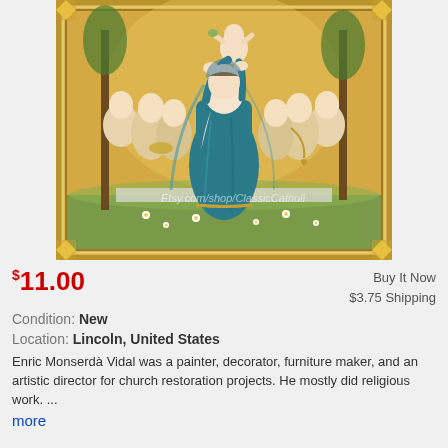[Figure (photo): Religious painting of the Virgin Mary in a teal/blue robe holding the Christ Child, surrounded by angels with golden background, framed in ornate gold frame. Watermark: Etsy.com/shop/ClassicCatholi]
$11.00
Buy It Now
$3.75 Shipping
Condition: New
Location: Lincoln, United States
Enric Monserdà Vidal was a painter, decorator, furniture maker, and an artistic director for church restoration projects. He mostly did religious work. ...
more